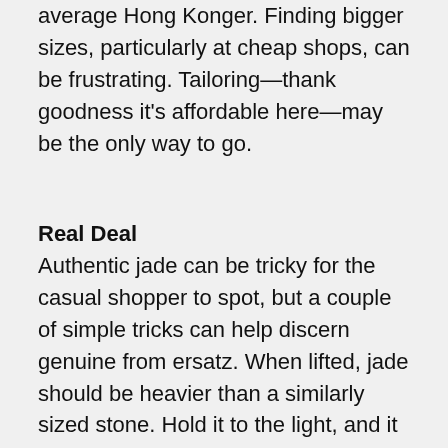average Hong Konger. Finding bigger sizes, particularly at cheap shops, can be frustrating. Tailoring—thank goodness it's affordable here—may be the only way to go.
Real Deal
Authentic jade can be tricky for the casual shopper to spot, but a couple of simple tricks can help discern genuine from ersatz. When lifted, jade should be heavier than a similarly sized stone. Hold it to the light, and it should look fibrous, not homogenous. A more full-proof technique relies on the shopkeeper's cooperation. Scratch the surface of the stone in question with a knife, scissors, or whatever is on hand, and it shouldn't leave a mark.
Sales Season
Hong Kong's best for great deals like the